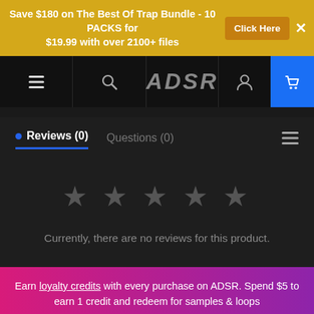Save $180 on The Best Of Trap Bundle - 10 PACKS for $19.99 with over 2100+ files | Click Here
[Figure (screenshot): ADSR website navigation bar with hamburger menu, search icon, ADSR logo, user icon, and cart icon on blue background]
Reviews (0)    Questions (0)
[Figure (other): Five empty/unfilled gray star icons for rating]
Currently, there are no reviews for this product.
Earn loyalty credits with every purchase on ADSR. Spend $5 to earn 1 credit and redeem for samples & loops